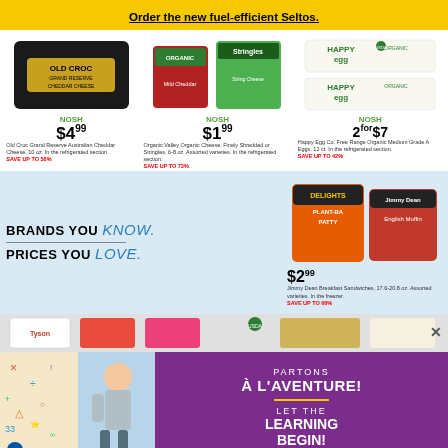Order the new fuel-efficient Seltos.
[Figure (photo): Old Croc Grand Reserve Australian Cheddar Cheese block in black packaging]
NOSH
$4.99
Old Croc Grand Reserve Australian Cheddar Cheese, 10 oz. In the refrigerated section. SAVE UP TO 58%
[Figure (photo): Organic Valley Organic Cheese packages - Mild Cheddar bag and Stringles]
NOSH
$1.99
Organic Valley Organic Cheese, Finely Shredded or Stringles, 6-8 oz. Assorted varieties. In the refrigerated section. SAVE UP TO 73%
[Figure (photo): Happy Egg Co. Free Range Organic Medium Grade A Eggs cartons]
NOSH
2 for $7
Happy Egg Co. Free Range Organic Medium Grade A Eggs, 12 ct. In the refrigerated section. SAVE UP TO 42%
[Figure (photo): Jimmy Dean Delights Plant-Based Patty and English Muffin sandwich boxes]
$2.99
Jimmy Dean Breakfast Sandwiches, 17.6-20.8 oz. Assorted varieties. In the freezer. SAVE UP TO 66%
BRANDS YOU Know. PRICES YOU Love.
[Figure (photo): Bottom product strip showing various grocery products]
[Figure (photo): Nouvelon back to school advertisement - child with backpack. PARTONS À L'AVENTURE! LET THE LEARNING BEGIN!]